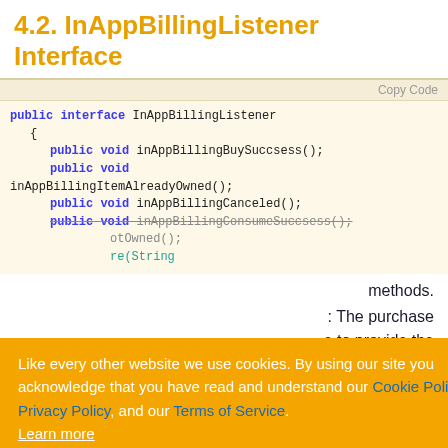4.2. InAppBillingListener Interface
[Figure (screenshot): Code block showing Java public interface InAppBillingListener with methods: inAppBillingBuySuccsess(), inAppBillingItemAlreadyOwned(), inAppBillingCanceled(), inAppBillingConsumeSuccsess(), and a partially visible method with String parameter. A 'Copy Code' button appears in the top right of the code block.]
methods.
: The purchase e to provide the ased.
inAppBillingItemAlreadyOwned(): The
[Figure (screenshot): Cookie consent banner overlay with orange background. Text: 'Like every other website we use cookies. By using our site you acknowledge that you have read and understand our Cookie Policy, Privacy Policy, and our Terms of Service. Learn more'. Buttons: 'Ask me later', 'Decline', 'Allow cookies'.]